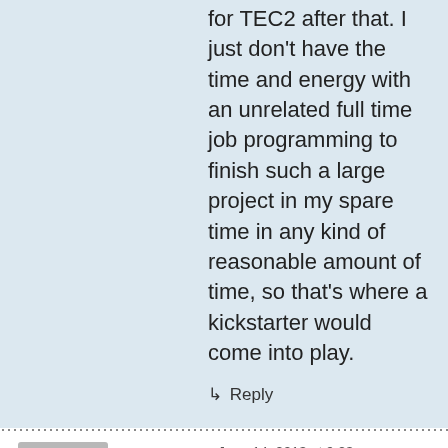for TEC2 after that. I just don't have the time and energy with an unrelated full time job programming to finish such a large project in my spare time in any kind of reasonable amount of time, so that's where a kickstarter would come into play.
↳ Reply
June 14, 2013 at 9:23 am
ever consider a kickstarter campaign?